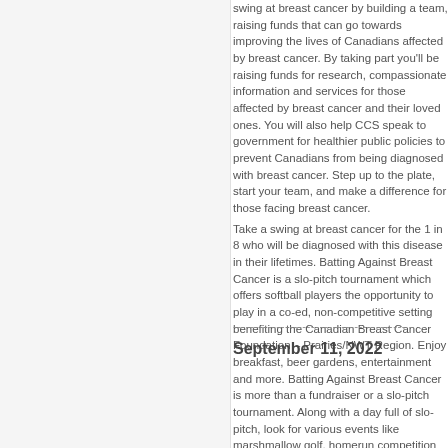swing at breast cancer by building a team, raising funds that can go towards improving the lives of Canadians affected by breast cancer. By taking part you'll be raising funds for research, compassionate information and services for those affected by breast cancer and their loved ones. You will also help CCS speak to government for healthier public policies to prevent Canadians from being diagnosed with breast cancer. Step up to the plate, start your team, and make a difference for those facing breast cancer.
Take a swing at breast cancer for the 1 in 8 who will be diagnosed with this disease in their lifetimes. Batting Against Breast Cancer is a slo-pitch tournament which offers softball players the opportunity to play in a co-ed, non-competitive setting benefiting the Canadian Breast Cancer Foundation – Prairies/NWT Region. Enjoy breakfast, beer gardens, entertainment and more. Batting Against Breast Cancer is more than a fundraiser or a slo-pitch tournament. Along with a day full of slo-pitch, look for various events like marshmallow golf, homerun competition and family-friendly activities, throughout the grounds and so much more.
----------------------------------------
September 11, 2022